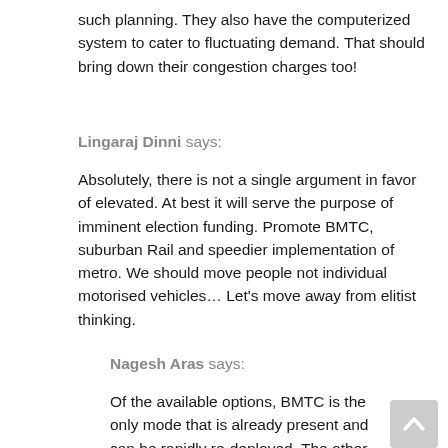such planning. They also have the computerized system to cater to fluctuating demand. That should bring down their congestion charges too!
Lingaraj Dinni says:
Absolutely, there is not a single argument in favor of elevated. At best it will serve the purpose of imminent election funding. Promote BMTC, suburban Rail and speedier implementation of metro. We should move people not individual motorised vehicles… Let's move away from elitist thinking.
Nagesh Aras says:
Of the available options, BMTC is the only mode that is already present and can be rapidly re-deployed. The other options like Metro, LRT, Rail